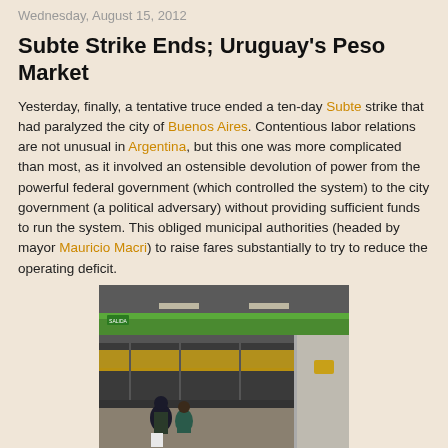Wednesday, August 15, 2012
Subte Strike Ends; Uruguay's Peso Market
Yesterday, finally, a tentative truce ended a ten-day Subte strike that had paralyzed the city of Buenos Aires. Contentious labor relations are not unusual in Argentina, but this one was more complicated than most, as it involved an ostensible devolution of power from the powerful federal government (which controlled the system) to the city government (a political adversary) without providing sufficient funds to run the system. This obliged municipal authorities (headed by mayor Mauricio Macri) to raise fares substantially to try to reduce the operating deficit.
[Figure (photo): Interior of a Buenos Aires Subte (subway) station platform with a train, green overhead stripe, passengers waiting on the platform.]